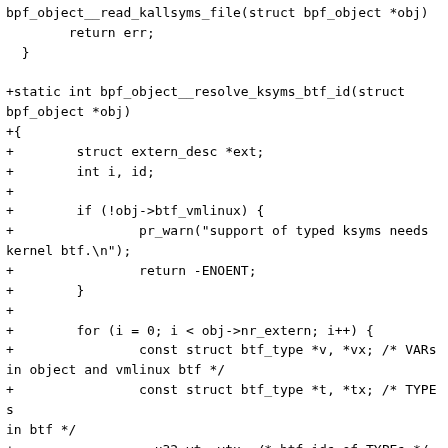bpf_object__read_kallsyms_file(struct bpf_object *obj)
        return err;
  }

+static int bpf_object__resolve_ksyms_btf_id(struct bpf_object *obj)
+{
+        struct extern_desc *ext;
+        int i, id;
+
+        if (!obj->btf_vmlinux) {
+                pr_warn("support of typed ksyms needs kernel btf.\n");
+                return -ENOENT;
+        }
+
+        for (i = 0; i < obj->nr_extern; i++) {
+                const struct btf_type *v, *vx; /* VARs in object and vmlinux btf */
+                const struct btf_type *t, *tx; /* TYPEs in btf */
+                __u32 vt, vtx; /* btf_ids of TYPEs */
+
+                ext = &obj->externs[i];
+                if (ext->type != EXT_KSYM)
+                        continue;
+
+                if (ext->ksym.is_typeless)
+                        continue;
+
+                if (ext->is_ext) {